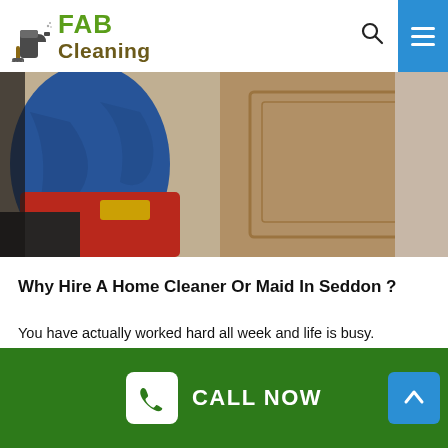FAB Cleaning
[Figure (photo): Person wearing blue and red clothing standing near a light brown wooden door, blurred background]
Why Hire A Home Cleaner Or Maid In Seddon ?
You have actually worked hard all week and life is busy. We get it, which is why we're here to help! It's time to offer
CALL NOW